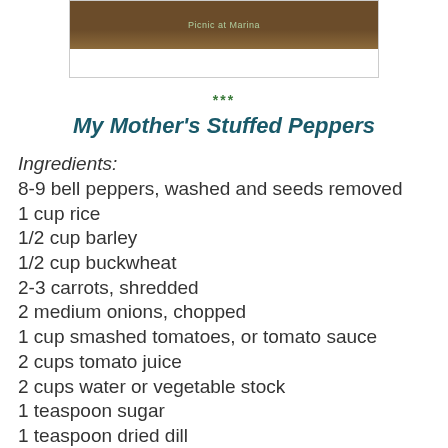[Figure (photo): Partial photo with brown/dark background and text 'Picnic at Marina' visible at top]
***
My Mother's Stuffed Peppers
Ingredients:
8-9 bell peppers, washed and seeds removed
1 cup rice
1/2 cup barley
1/2 cup buckwheat
2-3 carrots, shredded
2 medium onions, chopped
1 cup smashed tomatoes, or tomato sauce
2 cups tomato juice
2 cups water or vegetable stock
1 teaspoon sugar
1 teaspoon dried dill
1 Tablespoon chopped fresh lovage